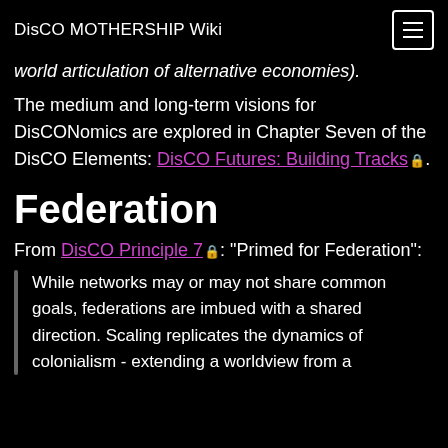DisCO MOTHERSHIP Wiki
world articulation of alternative economies).
The medium and long-term visions for DisCONomics are explored in Chapter Seven of the DisCO Elements: DisCO Futures: Building Tracks 🔒.
Federation
From DisCO Principle 7 🔒: "Primed for Federation":
While networks may or may not share common goals, federations are imbued with a shared direction. Scaling replicates the dynamics of colonialism - extending a worldview from a